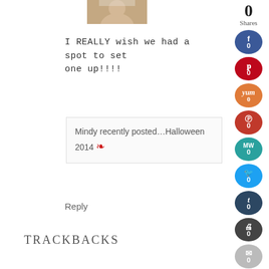[Figure (photo): Cropped profile photo of a person]
I REALLY wish we had a spot to set one up!!!!
Mindy recently posted…Halloween 2014 [devil icon]
Reply
TRACKBACKS
[Figure (infographic): Social share sidebar with counts: 0 Shares, Facebook 0, Pinterest 0, Yummly 0, Parler 0, MeWe 0, Twitter 0, Tumblr 0, Print 0, Email 0]